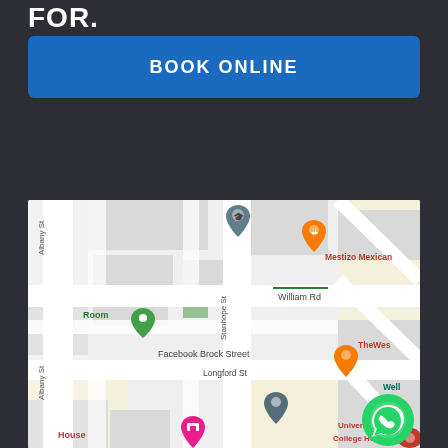FOR.
BOOK ONLINE
[Figure (map): Google Maps screenshot showing street map with Albany St, Stanhope St, William Rd, Facebook Brock Street, Longford St. Map pins include green pin labeled Room, orange pins for Mestizo Mexican and TheWes restaurants, blue-grey academic pin, blue location pin, pink hotel pin labeled House, red pin for University College Hospital. WhatsApp floating button visible in bottom right.]